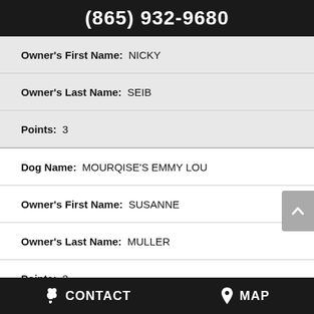(865) 932-9680
Owner's First Name: NICKY
Owner's Last Name: SEIB
Points: 3
Dog Name: MOURQISE'S EMMY LOU
Owner's First Name: SUSANNE
Owner's Last Name: MULLER
Points: 3
Dog Name: PHOENIX BULL'S FENJA
CONTACT   MAP